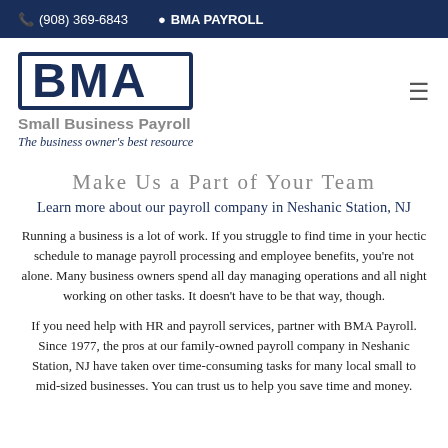(908) 369-6843  BMA PAYROLL
[Figure (logo): BMA Small Business Payroll logo with tagline 'The business owner's best resource']
Make Us a Part of Your Team
Learn more about our payroll company in Neshanic Station, NJ
Running a business is a lot of work. If you struggle to find time in your hectic schedule to manage payroll processing and employee benefits, you're not alone. Many business owners spend all day managing operations and all night working on other tasks. It doesn't have to be that way, though.
If you need help with HR and payroll services, partner with BMA Payroll. Since 1977, the pros at our family-owned payroll company in Neshanic Station, NJ have taken over time-consuming tasks for many local small to mid-sized businesses. You can trust us to help you save time and money.